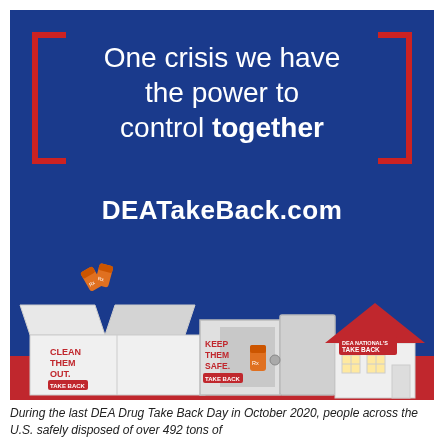[Figure (infographic): DEA Drug Take Back Day advertisement on blue background with red bracket decorations, showing tagline 'One crisis we have the power to control together', website DEATakeBack.com, and three illustrated icons: a box labeled CLEAN THEM OUT, a safe labeled KEEP THEM SAFE, and a house with DEA NATIONAL TAKE BACK sign. Red ground strip at bottom.]
During the last DEA Drug Take Back Day in October 2020, people across the U.S. safely disposed of over 492 tons of